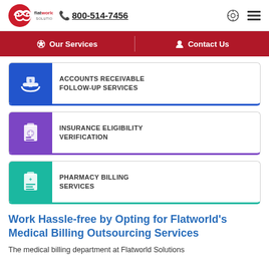[Figure (logo): Flatworld Solutions logo with infinity symbol in red circle and phone number 800-514-7456]
Our Services | Contact Us
ACCOUNTS RECEIVABLE FOLLOW-UP SERVICES
INSURANCE ELIGIBILITY VERIFICATION
PHARMACY BILLING SERVICES
Work Hassle-free by Opting for Flatworld's Medical Billing Outsourcing Services
The medical billing department at Flatworld Solutions